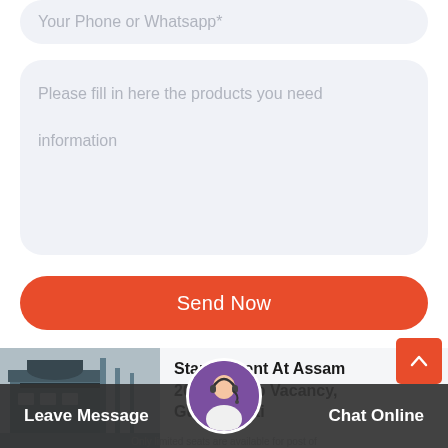Your Phone or Whatsapp*
Please fill in here the products you need information
Send Now
Star Cement At Assam 2021-22 Job Vacancy, Guwahati
Leave Message
Chat Online
Only limited seats are available for post of